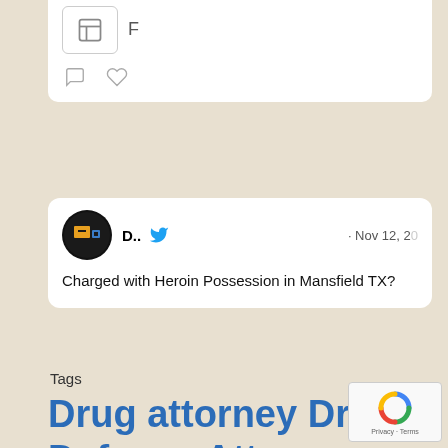[Figure (screenshot): Top portion of a tweet card showing an image icon and partial text, with comment and like icons below.]
[Figure (screenshot): Tweet card from Dallas Interstate Drug Lawyers account dated Nov 12, 20xx, with text: Charged with Heroin Possession in Mansfield TX?]
Tags
Drug attorney Drug Defense Attorney Drug Defense Lawyer drug lawyer Drug Possession with Intent Lawyer Drug